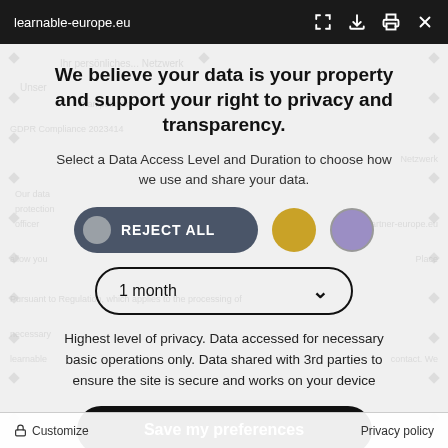learnable-europe.eu
We believe your data is your property and support your right to privacy and transparency.
Select a Data Access Level and Duration to choose how we use and share your data.
[Figure (infographic): Three options: REJECT ALL button (dark pill with grey circle), a gold circle button, and a purple circle button]
[Figure (infographic): Duration dropdown selector showing '1 month' with chevron]
Highest level of privacy. Data accessed for necessary basic operations only. Data shared with 3rd parties to ensure the site is secure and works on your device
[Figure (infographic): Save my preferences button (black pill button)]
Customize    Privacy policy